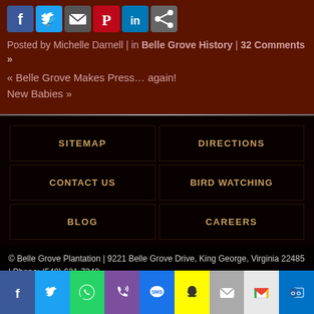[Figure (other): Social media share icons row: Facebook, Twitter, Email, Pinterest, LinkedIn, Share]
Posted by Michelle Darnell | in Belle Grove History | 32 Comments »
« Belle Grove Makes Press… again!
New Babies »
SITEMAP
DIRECTIONS
CONTACT US
BIRD WATCHING
BLOG
CAREERS
© Belle Grove Plantation | 9221 Belle Grove Drive, King George, Virginia 22485 | Phone: (540) 621-7340
Website creation & maintenance by Bull & Company MediaWorks
[Figure (other): Social share bar at bottom: Facebook (blue), Twitter (light blue), WhatsApp (green), Phone (purple), SMS (blue), Snapchat (yellow), Email (gray), Gmail (light gray), Outlook (blue)]